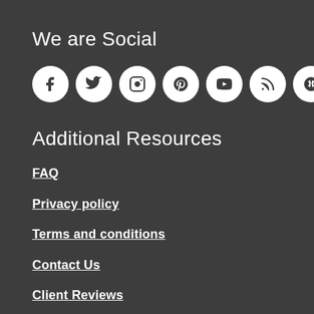We are Social
[Figure (illustration): Seven social media icon circles in white: Facebook, Twitter, Instagram, Pinterest, YouTube, RSS, Yelp]
Additional Resources
FAQ
Privacy policy
Terms and conditions
Contact Us
Client Reviews